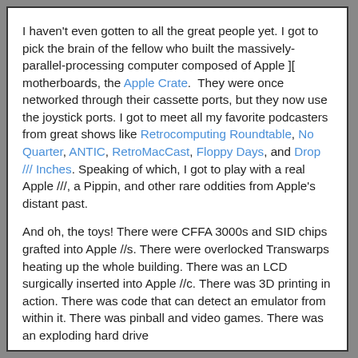I haven't even gotten to all the great people yet. I got to pick the brain of the fellow who built the massively-parallel-processing computer composed of Apple ][ motherboards, the Apple Crate.  They were once networked through their cassette ports, but they now use the joystick ports. I got to meet all my favorite podcasters from great shows like Retrocomputing Roundtable, No Quarter, ANTIC, RetroMacCast, Floppy Days, and Drop /// Inches. Speaking of which, I got to play with a real Apple ///, a Pippin, and other rare oddities from Apple's distant past.
And oh, the toys! There were CFFA 3000s and SID chips grafted into Apple //s. There were overlocked Transwarps heating up the whole building. There was an LCD surgically inserted into Apple //c. There was 3D printing in action. There was code that can detect an emulator from within it. There was pinball and video games. There was an exploding hard drive